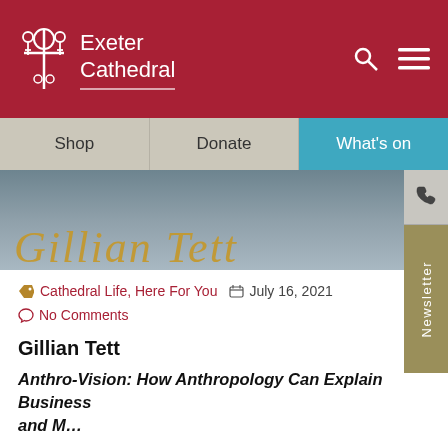Exeter Cathedral
Shop | Donate | What's on
[Figure (screenshot): Banner image with stylized text 'Gillian Tett' in gold italic serif font over a blurred blue-grey background]
Cathedral Life, Here For You  July 16, 2021  No Comments
Gillian Tett
Anthro-Vision: How Anthropology Can Explain Business and M...